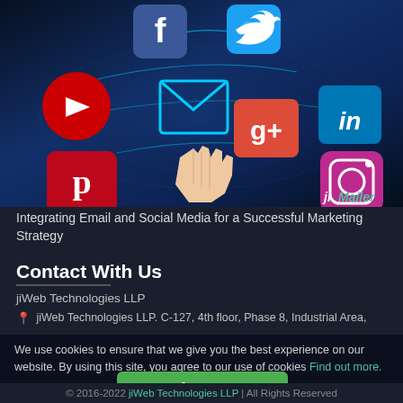[Figure (illustration): Social media marketing illustration showing a hand pointing at an email envelope icon surrounded by social media platform icons (Facebook, Twitter, YouTube, Google+, LinkedIn, Pinterest, Instagram) on a dark blue world map background. jiMailer branding in bottom right.]
Integrating Email and Social Media for a Successful Marketing Strategy
Contact With Us
jiWeb Technologies LLP
jiWeb Technologies LLP. C-127, 4th floor, Phase 8, Industrial Area,
We use cookies to ensure that we give you the best experience on our website. By using this site, you agree to our use of cookies Find out more.
© 2016-2022 jiWeb Technologies LLP | All Rights Reserved